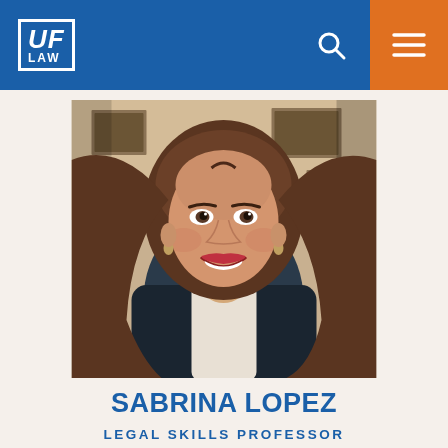UF LAW
[Figure (photo): Professional headshot of Sabrina Lopez, a woman with long wavy brown hair, wearing a black blazer and white top, smiling, seated in an office with framed certificates visible in the background]
SABRINA LOPEZ
LEGAL SKILLS PROFESSOR